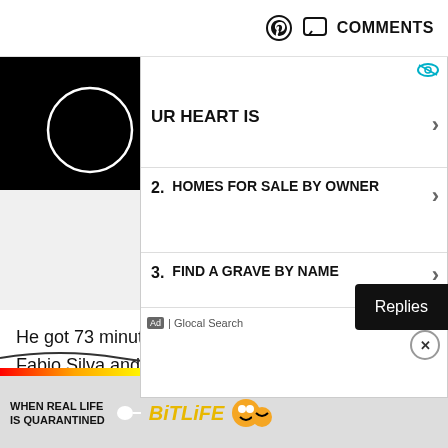COMMENTS
[Figure (screenshot): Black video thumbnail with white circle/loading spinner on left side]
[Figure (screenshot): Advertisement panel showing: 'UR HEART IS' (partially visible), item 2 'HOMES FOR SALE BY OWNER', item 3 'FIND A GRAVE BY NAME', footer: Ad | Glocal Search]
Replies
He got 73 minutes here before being replaced by Fabio Silva and the goal topped a strong all-round display.
[Figure (screenshot): Bottom advertisement banner: WHEN REAL LIFE IS QUARANTINED · BitLife logo with star emoji face and thumbs up emoji, rainbow stripe at top]